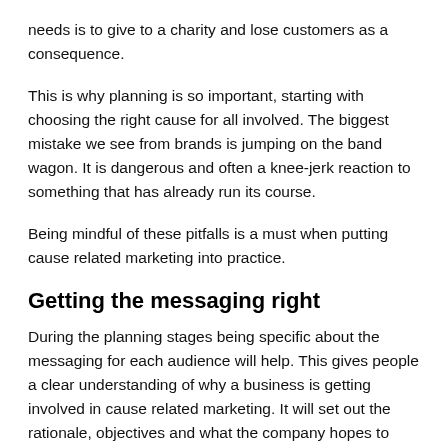needs is to give to a charity and lose customers as a consequence.
This is why planning is so important, starting with choosing the right cause for all involved. The biggest mistake we see from brands is jumping on the band wagon. It is dangerous and often a knee-jerk reaction to something that has already run its course.
Being mindful of these pitfalls is a must when putting cause related marketing into practice.
Getting the messaging right
During the planning stages being specific about the messaging for each audience will help. This gives people a clear understanding of why a business is getting involved in cause related marketing. It will set out the rationale, objectives and what the company hopes to achieve at each stage. Also, whether the partnership is longer term